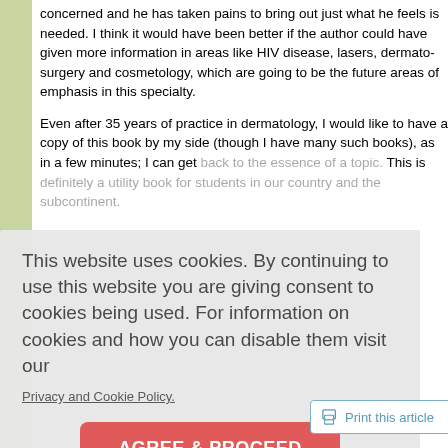concerned and he has taken pains to bring out just what he feels is needed. I think it would have been better if the author could have given more information in areas like HIV disease, lasers, dermato-surgery and cosmetology, which are going to be the future areas of emphasis in this specialty.
Even after 35 years of practice in dermatology, I would like to have a copy of this book by my side (though I have many such books), as in a few minutes; I can get back to the essence of a topic. This is definitely a utility book for students in our country and the subcontinent.
This website uses cookies. By continuing to use this website you are giving consent to cookies being used. For information on cookies and how you can disable them visit our
Privacy and Cookie Policy.
AGREE & PROCEED
Print this article